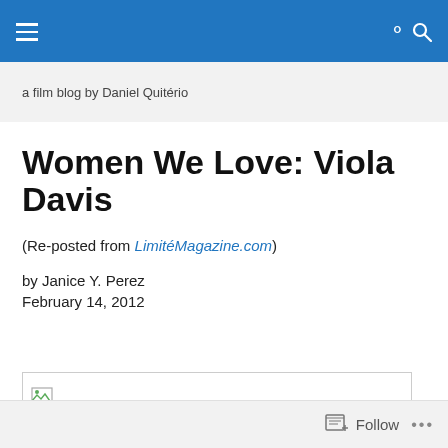[Navigation bar with hamburger menu and search icon]
a film blog by Daniel Quitério
Women We Love: Viola Davis
(Re-posted from LimitéMagazine.com)
by Janice Y. Perez
February 14, 2012
[Figure (photo): Broken image placeholder box]
Follow ...